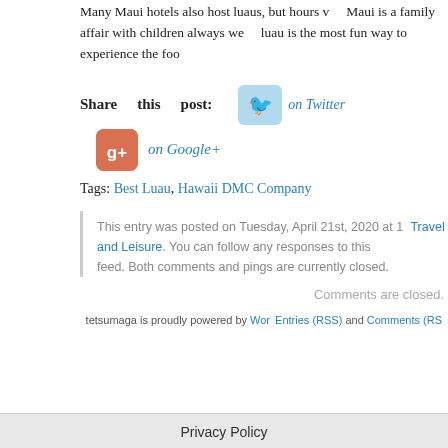Many Maui hotels also host luaus, but hours v… Maui is a family affair with children always we… luau is the most fun way to experience the foo…
Share this post: on Twitter
on Google+
Tags: Best Luau, Hawaii DMC Company
This entry was posted on Tuesday, April 21st, 2020 at … Travel and Leisure. You can follow any responses to this… feed. Both comments and pings are currently closed.
Comments are closed.
[Figure (logo): Facebook circle icon (blue)]
[Figure (logo): Google+ circle icon (red)]
[Figure (logo): Twitter circle icon (cyan)]
[Figure (logo): Plus circle icon (dark)]
tetsumaga is proudly powered by WordPress. Entries (RSS) and Comments (RSS). Privacy Policy